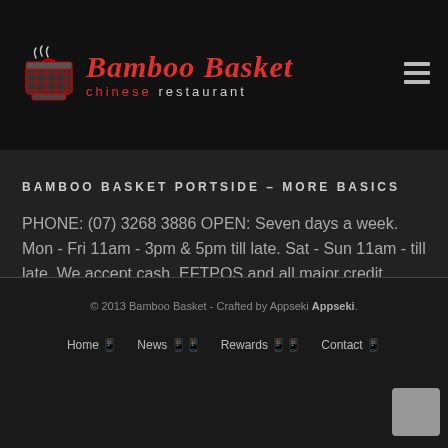[Figure (logo): Bamboo Basket Chinese Restaurant logo with steamer basket icon and red cursive text]
BAMBOO BASKET PORTSIDE – MORE BASICS
PHONE: (07) 3268 3886 OPEN: Seven days a week. Mon - Fri 11am - 3pm & 5pm till late. Sat - Sun 11am - till late. We accept cash, EFTPOS and all major credit cards for convenient dining. Functions and Takeaway Welcome.
© 2013 Bamboo Basket - Crafted by Appseki Appseki. Home  News  Rewards  Contact